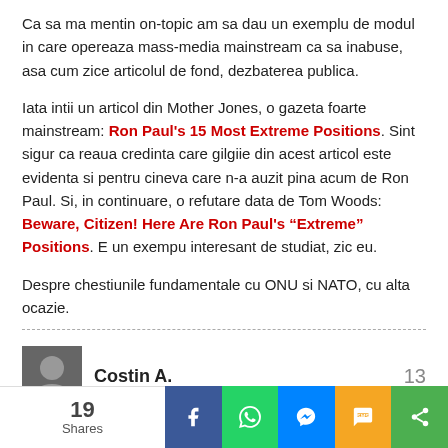Ca sa ma mentin on-topic am sa dau un exemplu de modul in care opereaza mass-media mainstream ca sa inabuse, asa cum zice articolul de fond, dezbaterea publica.
Iata intii un articol din Mother Jones, o gazeta foarte mainstream: Ron Paul's 15 Most Extreme Positions. Sint sigur ca reaua credinta care gilgiie din acest articol este evidenta si pentru cineva care n-a auzit pina acum de Ron Paul. Si, in continuare, o refutare data de Tom Woods: Beware, Citizen! Here Are Ron Paul's "Extreme" Positions. E un exempu interesant de studiat, zic eu.
Despre chestiunile fundamentale cu ONU si NATO, cu alta ocazie.
Costin A.
13
19 Shares